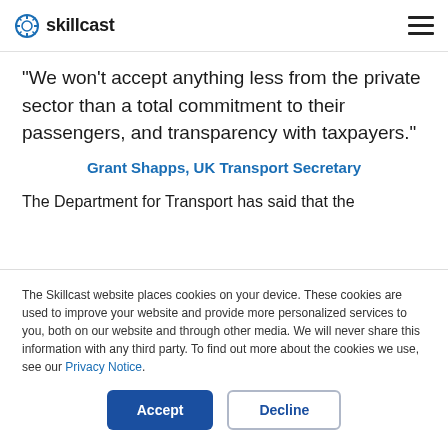skillcast
"We won't accept anything less from the private sector than a total commitment to their passengers, and transparency with taxpayers."
Grant Shapps, UK Transport Secretary
The Department for Transport has said that the
The Skillcast website places cookies on your device. These cookies are used to improve your website and provide more personalized services to you, both on our website and through other media. We will never share this information with any third party. To find out more about the cookies we use, see our Privacy Notice.
Accept
Decline